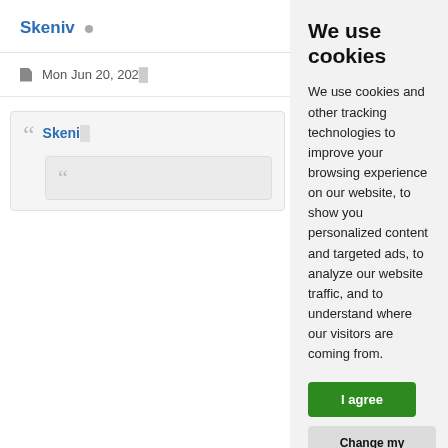Skeniv •
Mon Jun 20, 202...
" Skeni
"
We use cookies
We use cookies and other tracking technologies to improve your browsing experience on our website, to show you personalized content and targeted ads, to analyze our website traffic, and to understand where our visitors are coming from.
I agree
Change my preferences